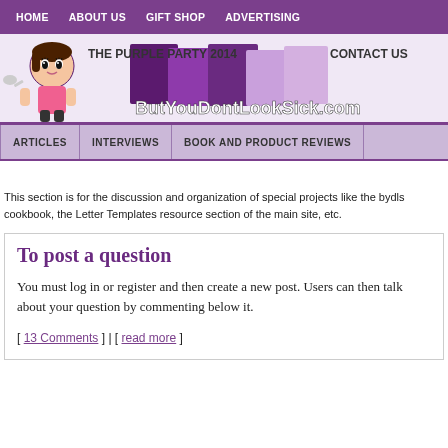HOME   ABOUT US   GIFT SHOP   ADVERTISING
[Figure (logo): ButYouDontLookSick.com website header logo with cartoon girl, purple color blocks, and site name in stylized font. Navigation items: THE PURPLE PARTY 2014, CONTACT US]
ARTICLES   INTERVIEWS   BOOK AND PRODUCT REVIEWS
This section is for the discussion and organization of special projects like the bydls cookbook, the Letter Templates resource section of the main site, etc.
To post a question
You must log in or register and then create a new post. Users can then talk about your question by commenting below it.
[ 13 Comments ] | [ read more ]